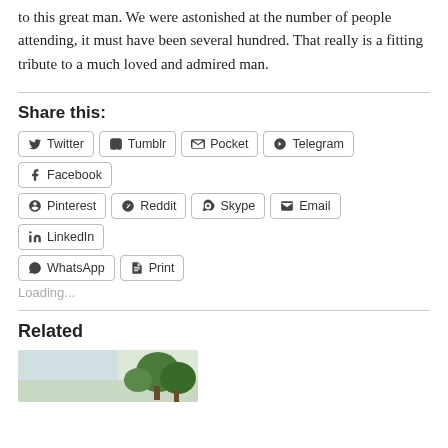to this great man. We were astonished at the number of people attending, it must have been several hundred. That really is a fitting tribute to a much loved and admired man.
Share this:
Twitter
Tumblr
Pocket
Telegram
Facebook
Pinterest
Reddit
Skype
Email
LinkedIn
WhatsApp
Print
Loading...
Related
[Figure (photo): Partial photo of trees/landscape, cropped at bottom of page]